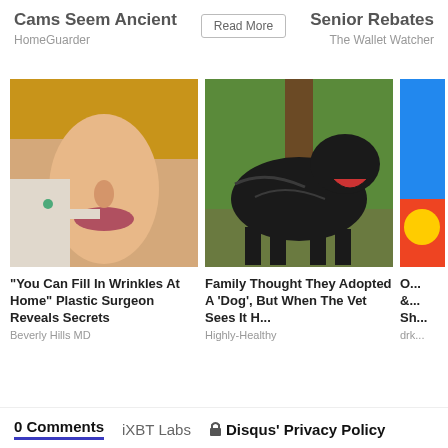Cams Seem Ancient
HomeGuarder
Senior Rebates
The Wallet Watcher
[Figure (photo): Close-up of a woman's face with someone touching her chin, blonde hair, cosmetic procedure context]
"You Can Fill In Wrinkles At Home" Plastic Surgeon Reveals Secrets
Beverly Hills MD
[Figure (photo): Large black dog (Cane Corso type) standing on grass with trees in background, mouth open]
Family Thought They Adopted A 'Dog', But When The Vet Sees It H...
Highly-Healthy
[Figure (photo): Partially visible third card image, brightly colored]
O... &... Sh...
drk...
0 Comments   iXBT Labs   🔒 Disqus' Privacy Policy